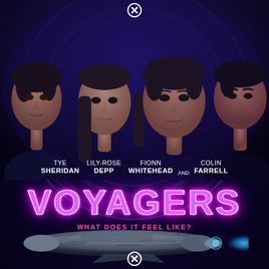[Figure (illustration): Movie poster for 'Voyagers' (2021). Four actors appear against a dark blue/purple sci-fi background with a large circular hatch/portal structure behind them. From left to right: Tye Sheridan, Lily-Rose Depp, Fionn Whitehead, Colin Farrell. Below the actors are their names in white uppercase text. The title 'VOYAGERS' appears in large neon pink/purple glowing letters. Tagline reads 'WHAT DOES IT FEEL LIKE?' in pink. A detailed sci-fi spacecraft appears at the bottom center. Two circular close/cancel button icons (circle with X) appear at top center and bottom center of the poster.]